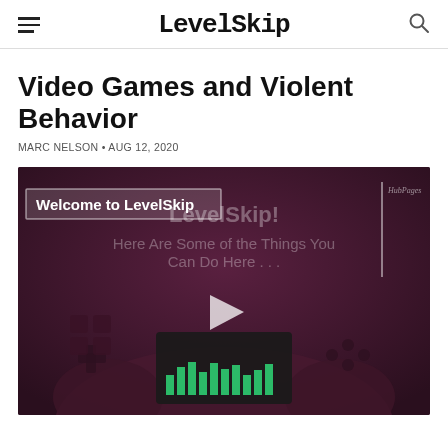LevelSkip
Video Games and Violent Behavior
MARC NELSON • AUG 12, 2020
[Figure (screenshot): Video player screenshot showing a LevelSkip welcome video with a game controller background. Overlay text reads 'Welcome to LevelSkip' and 'Here Are Some of the Things You Can Do Here...' with a play button in the center. HubPages watermark in top right.]